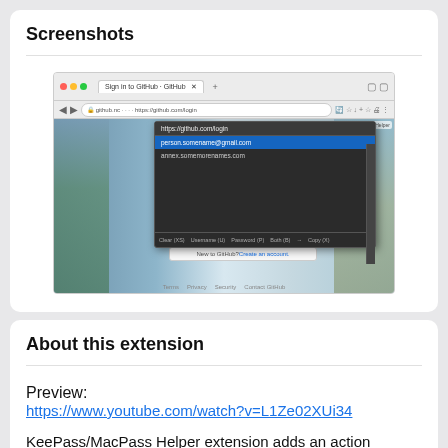Screenshots
[Figure (screenshot): Browser screenshot showing a KeePass/MacPass Helper extension popup on github.com/login, with a dark dropdown listing saved credentials and buttons for Clear, Username, Password, Both, Copy.]
About this extension
Preview:
https://www.youtube.com/watch?v=L1Ze02XUi34
KeePass/MacPass Helper extension adds an action